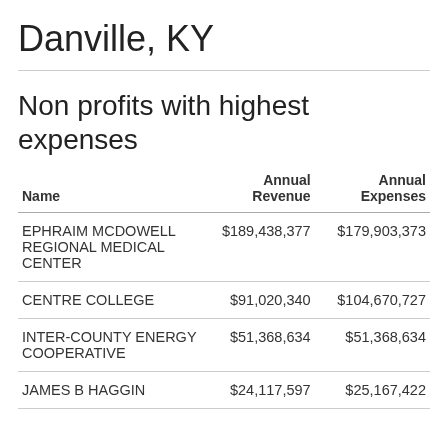Danville, KY
Non profits with highest expenses
| Name | Annual Revenue | Annual Expenses |
| --- | --- | --- |
| EPHRAIM MCDOWELL REGIONAL MEDICAL CENTER | $189,438,377 | $179,903,373 |
| CENTRE COLLEGE | $91,020,340 | $104,670,727 |
| INTER-COUNTY ENERGY COOPERATIVE | $51,368,634 | $51,368,634 |
| JAMES B HAGGIN | $24,117,597 | $25,167,422 |